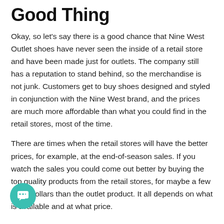Good Thing
Okay, so let’s say there is a good chance that Nine West Outlet shoes have never seen the inside of a retail store and have been made just for outlets. The company still has a reputation to stand behind, so the merchandise is not junk. Customers get to buy shoes designed and styled in conjunction with the Nine West brand, and the prices are much more affordable than what you could find in the retail stores, most of the time.
There are times when the retail stores will have the better prices, for example, at the end-of-season sales. If you watch the sales you could come out better by buying the top quality products from the retail stores, for maybe a few more dollars than the outlet product. It all depends on what is available and at what price.
The Best Time to Buy at Nine...